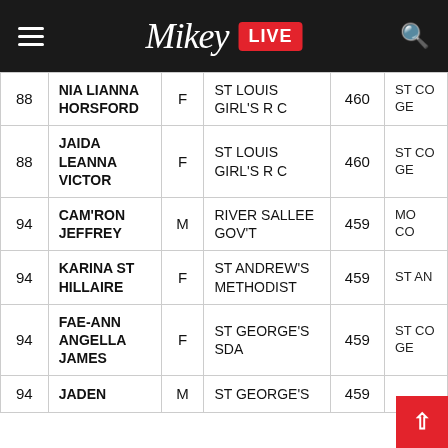Mikey LIVE
| # | Name | Sex | School | Score | Secondary |
| --- | --- | --- | --- | --- | --- |
| 88 | NIA LIANNA HORSFORD | F | ST LOUIS GIRL'S R C | 460 | ST CO GE |
| 88 | JAIDA LEANNA VICTOR | F | ST LOUIS GIRL'S R C | 460 | ST CO GE |
| 94 | CAM'RON JEFFREY | M | RIVER SALLEE GOV'T | 459 | MO CO |
| 94 | KARINA ST HILLAIRE | F | ST ANDREW'S METHODIST | 459 | ST AN |
| 94 | FAE-ANN ANGELLA JAMES | F | ST GEORGE'S SDA | 459 | ST CO GE |
| 94 | JADEN | M | ST GEORGE'S | 459 |  |